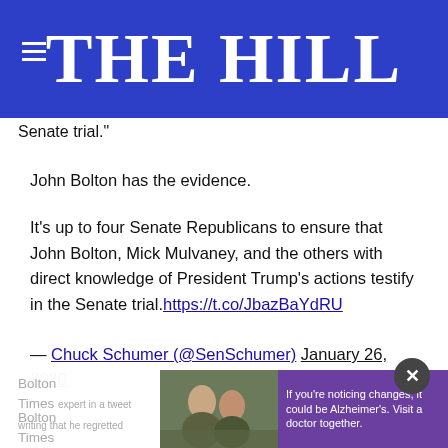[Figure (logo): The Hill website header with blue background and white THE HILL logo text]
Senate trial."
John Bolton has the evidence.
It’s up to four Senate Republicans to ensure that John Bolton, Mick Mulvaney, and the others with direct knowledge of President Trump’s actions testify in the Senate trial.https://t.co/JbazBaYdRU
— Chuck Schumer (@SenSchumer) January 26, 2020
[Figure (screenshot): Advertisement overlay with photo of two people and purple Alzheimer's awareness ad text reading: If you're noticing changes, it could be Alzheimer's. Visit a doctor together.]
Bolton Times expert in a tweet, writing that he regretted